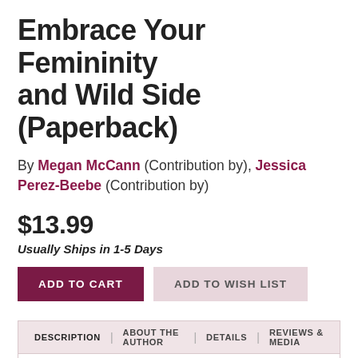Embrace Your Femininity and Wild Side (Paperback)
By Megan McCann (Contribution by), Jessica Perez-Beebe (Contribution by)
$13.99
Usually Ships in 1-5 Days
ADD TO CART | ADD TO WISH LIST
DESCRIPTION | ABOUT THE AUTHOR | DETAILS | REVIEWS & MEDIA
Who is the modern woman? Is she the wife and mother? Is she the driven career woman? Is she the charismatic entrepreneur with her own successful